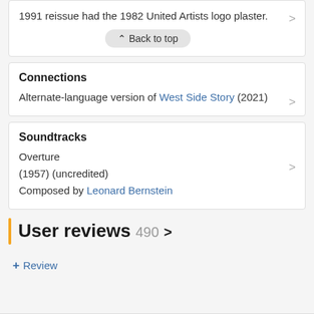1991 reissue had the 1982 United Artists logo plaster.
Back to top
Connections
Alternate-language version of West Side Story (2021)
Soundtracks
Overture
(1957) (uncredited)
Composed by Leonard Bernstein
User reviews 490
+ Review